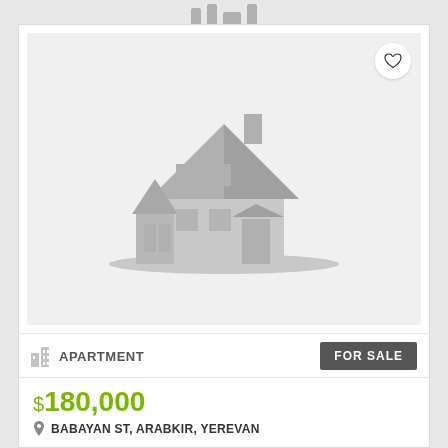[Figure (illustration): Real estate listing card showing a placeholder house icon on gray background with a heart/favorite button in top right corner]
APARTMENT
FOR SALE
$180,000
BABAYAN ST, ARABKIR, YEREVAN
ARARAT REALTY